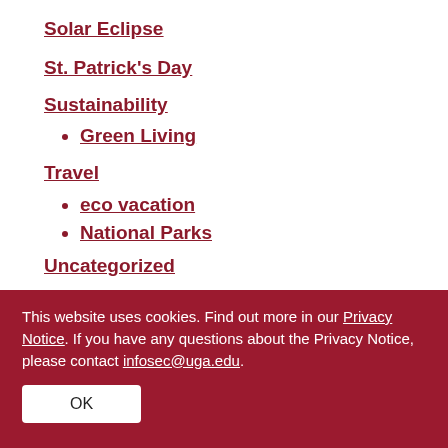Solar Eclipse
St. Patrick's Day
Sustainability
Green Living
Travel
eco vacation
National Parks
Uncategorized
Universal Design
This website uses cookies. Find out more in our Privacy Notice. If you have any questions about the Privacy Notice, please contact infosec@uga.edu.